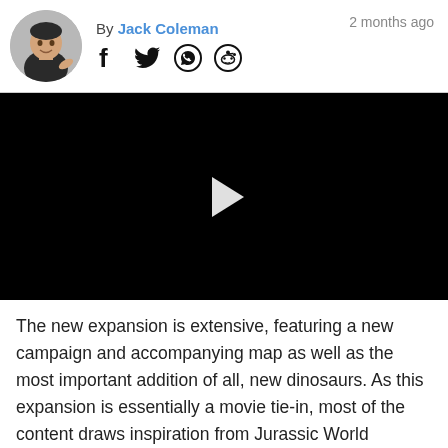By Jack Coleman   2 months ago
[Figure (photo): Author avatar photo showing a young man with dark hair making a pointing gesture, circular crop]
[Figure (screenshot): Black video player with a white play button triangle in the center]
The new expansion is extensive, featuring a new campaign and accompanying map as well as the most important addition of all, new dinosaurs. As this expansion is essentially a movie tie-in, most of the content draws inspiration from Jurassic World Dominion. In the new expansion you will be taking on a Biosyn valley...